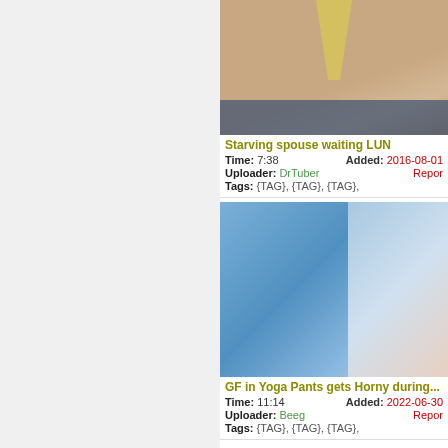[Figure (photo): Thumbnail image for video titled Starving spouse waiting LUN]
Starving spouse waiting LUN
Time: 7:38   Added: 2016-08-01   Uploader: DrTuber   Report   Tags: {TAG}, {TAG}, {TAG},
[Figure (photo): Thumbnail image for video titled GF in Yoga Pants gets Horny during...]
GF in Yoga Pants gets Horny during...
Time: 11:14   Added: 2022-06-30   Uploader: Beeg   Report   Tags: {TAG}, {TAG}, {TAG},